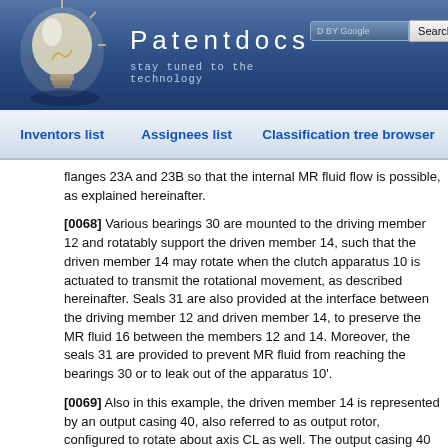Patentdocs — stay tuned to the technology
Inventors list | Assignees list | Classification tree browser
flanges 23A and 23B so that the internal MR fluid flow is possible, as explained hereinafter.
[0068] Various bearings 30 are mounted to the driving member 12 and rotatably support the driven member 14, such that the driven member 14 may rotate when the clutch apparatus 10 is actuated to transmit the rotational movement, as described hereinafter. Seals 31 are also provided at the interface between the driving member 12 and driven member 14, to preserve the MR fluid 16 between the members 12 and 14. Moreover, the seals 31 are provided to prevent MR fluid from reaching the bearings 30 or to leak out of the apparatus 10'.
[0069] Also in this example, the driven member 14 is represented by an output casing 40, also referred to as output rotor, configured to rotate about axis CL as well. The output casing 40 may be coupled to various mechanical components that receive the transmitted power output when the clutch